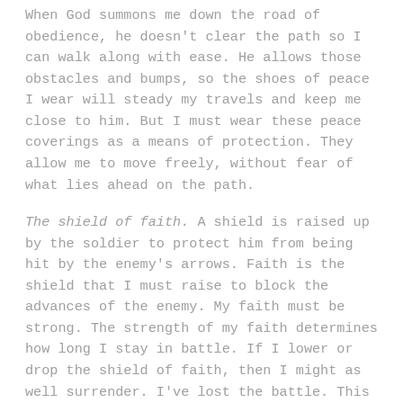When God summons me down the road of obedience, he doesn't clear the path so I can walk along with ease. He allows those obstacles and bumps, so the shoes of peace I wear will steady my travels and keep me close to him. But I must wear these peace coverings as a means of protection. They allow me to move freely, without fear of what lies ahead on the path.
The shield of faith. A shield is raised up by the soldier to protect him from being hit by the enemy's arrows. Faith is the shield that I must raise to block the advances of the enemy. My faith must be strong. The strength of my faith determines how long I stay in battle. If I lower or drop the shield of faith, then I might as well surrender. I've lost the battle. This fight requires a strong faith. Even faith the size of a